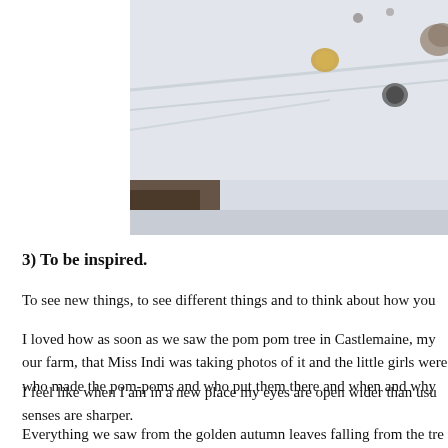[Figure (photo): Partial photo showing a blurred winter/outdoor scene with what appears to be pom poms on branches or wires against a light sky background, with a dark wooden structure at lower left.]
3) To be inspired.
To see new things, to see different things and to think about how you
I loved how as soon as we saw the pom pom tree in Castlemaine, my our farm, that Miss Indi was taking photos of it and the little girls were who made the pom-poms and who put them there and when and why
I feel like when I am in a new place my eyes are open wider than usu senses are sharper.
Everything we saw from the golden autumn leaves falling from the tre in the school, to the knitted square wrapped tree, everything made me